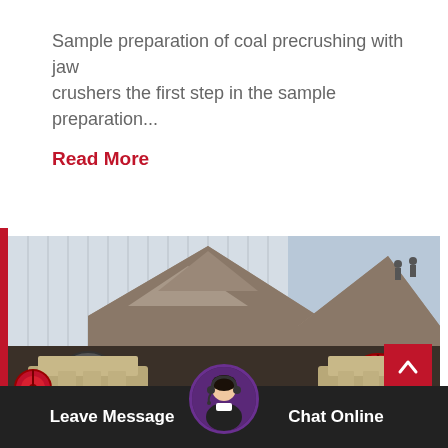Sample preparation of coal precrushing with jaw crushers the first step in the sample preparation...
Read More
[Figure (photo): Industrial jaw crushers at a mining or quarrying site, with large conical rock piles in the background and heavy machinery with flywheels in the foreground.]
Leave Message
Chat Online